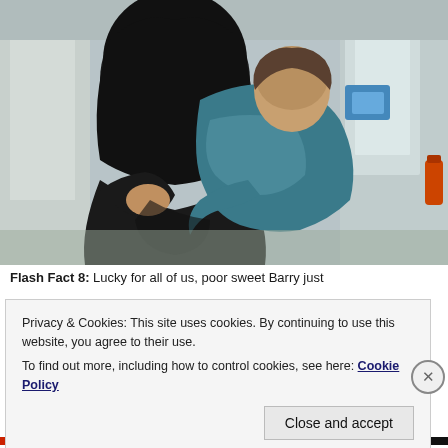[Figure (photo): Two people hugging each other indoors, one wearing a teal/blue sweater and another in dark clothing, taken in what appears to be a building entrance or lobby area.]
Flash Fact 8: Lucky for all of us, poor sweet Barry just
Privacy & Cookies: This site uses cookies. By continuing to use this website, you agree to their use.
To find out more, including how to control cookies, see here: Cookie Policy
Close and accept